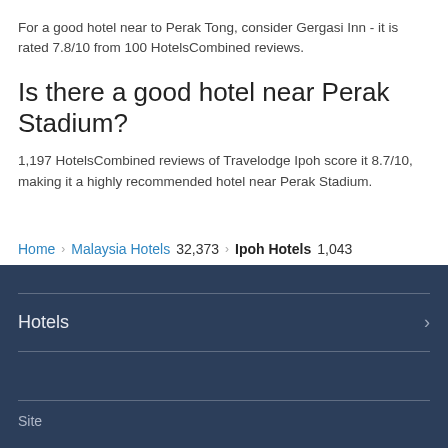For a good hotel near to Perak Tong, consider Gergasi Inn - it is rated 7.8/10 from 100 HotelsCombined reviews.
Is there a good hotel near Perak Stadium?
1,197 HotelsCombined reviews of Travelodge Ipoh score it 8.7/10, making it a highly recommended hotel near Perak Stadium.
Home › Malaysia Hotels 32,373 › Ipoh Hotels 1,043
Hotels
Site